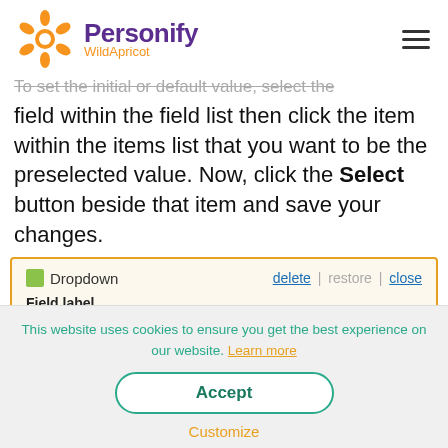Personify WildApricot
To set the initial or default value, select the field within the field list then click the item within the items list that you want to be the preselected value. Now, click the Select button beside that item and save your changes.
[Figure (screenshot): UI panel showing a Dropdown field editor with 'delete | restore | close' actions and a 'Field label' input containing 'Country']
This website uses cookies to ensure you get the best experience on our website. Learn more
Accept
Customize